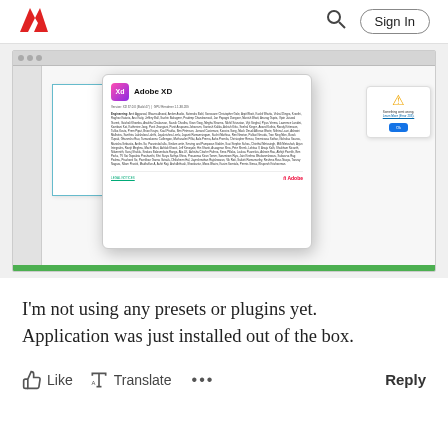Adobe logo | Search | Sign In
[Figure (screenshot): Screenshot of Adobe XD application with an About dialog box open showing Adobe XD version information and a warning panel on the right side. A green progress bar is visible at the bottom of the application window.]
I'm not using any presets or plugins yet. Application was just installed out of the box.
Like  Translate  ...  Reply